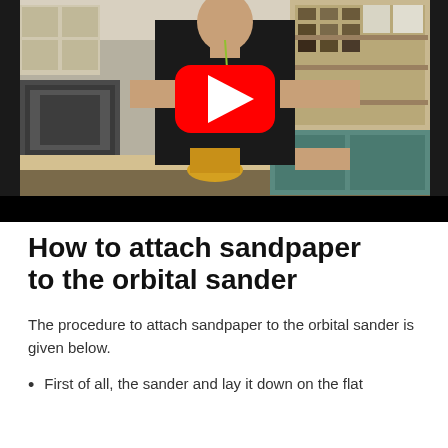[Figure (screenshot): YouTube video thumbnail showing a man in a black polo shirt using an orbital sander on a workbench in a workshop. A large red YouTube play button is overlaid in the center. The workshop has shelving units and tools in the background. A black bar appears at the bottom of the video frame.]
How to attach sandpaper to the orbital sander
The procedure to attach sandpaper to the orbital sander is given below.
First of all, the sander and lay it down on the flat